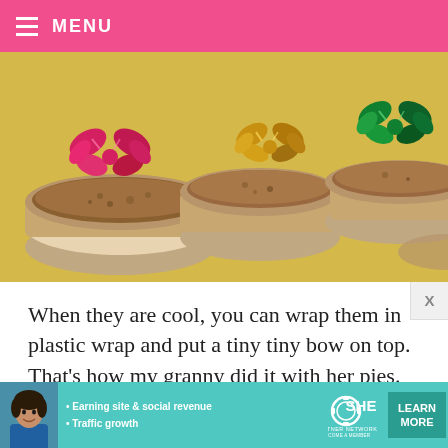MENU
[Figure (photo): Several small round pies in clear containers decorated with colorful gift bows (red, gold, green) on a yellow surface, styled as holiday gifts.]
When they are cool, you can wrap them in plastic wrap and put a tiny tiny bow on top. That's how my granny did it with her pies.
Simple and sweet.
Now, here's the recipe, listed with the brands she
[Figure (infographic): SHE Partner Network advertisement banner with teal background, woman photo, bullet points 'Earning site & social revenue' and 'Traffic growth', SHE logo, and 'LEARN MORE' button.]